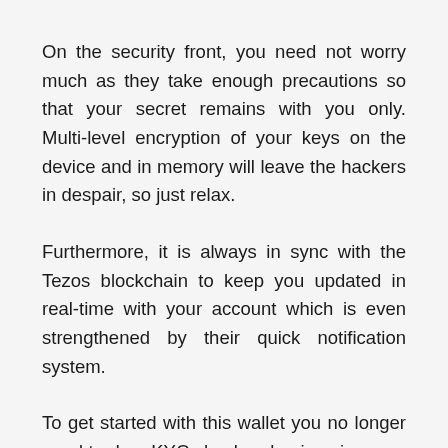On the security front, you need not worry much as they take enough precautions so that your secret remains with you only. Multi-level encryption of your keys on the device and in memory will leave the hackers in despair, so just relax.
Furthermore, it is always in sync with the Tezos blockchain to keep you updated in real-time with your account which is even strengthened by their quick notification system.
To get started with this wallet you no longer need to do a KYC check or log in using your email ID. Instead, you can download the wallet right away